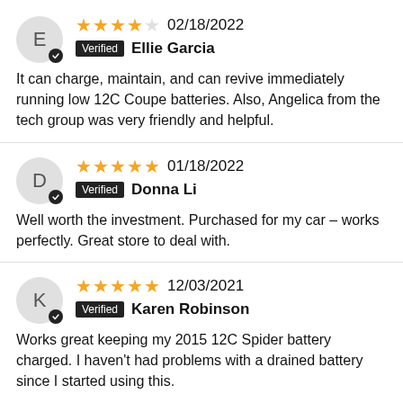02/18/2022 Verified Ellie Garcia — 4 stars — It can charge, maintain, and can revive immediately running low 12C Coupe batteries. Also, Angelica from the tech group was very friendly and helpful.
01/18/2022 Verified Donna Li — 5 stars — Well worth the investment. Purchased for my car – works perfectly. Great store to deal with.
12/03/2021 Verified Karen Robinson — 5 stars — Works great keeping my 2015 12C Spider battery charged. I haven't had problems with a drained battery since I started using this.